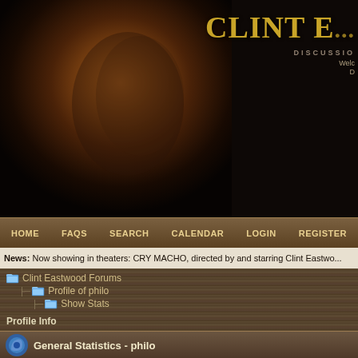[Figure (screenshot): Clint Eastwood fan forum website header with photo of Clint Eastwood in profile wearing a hat, with golden 'CLINT E...' title text]
HOME  FAQS  SEARCH  CALENDAR  LOGIN  REGISTER
News: Now showing in theaters: CRY MACHO, directed by and starring Clint Eastwo...
Clint Eastwood Forums > Profile of philo > Show Stats
Profile Info
General Statistics - philo
| Stat | Value |
| --- | --- |
| Total Time Spent Online: | 24 days, 7 h |
| Total Posts: | 3717 posts |
| Total Topics Started: | 344 topics |
| Number of Polls Created: | 0 polls |
| Number of Votes Cast: | 13 votes |